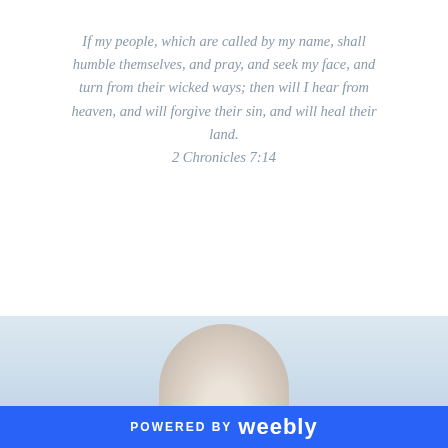If my people, which are called by my name, shall humble themselves, and pray, and seek my face, and turn from their wicked ways; then will I hear from heaven, and will forgive their sin, and will heal their land.
2 Chronicles 7:14
Have a Blessed Day!
Ryana Lynn
Jude 22
Comments are closed.
[Figure (photo): Partial view of a person, showing upper torso and hair, light background, cropped at bottom of page]
POWERED BY weebly